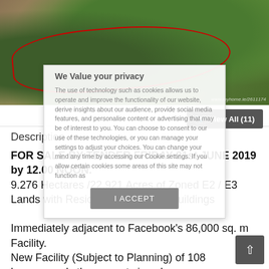[Figure (photo): Aerial drone photograph of agricultural/wooded land with a red boundary line drawn around the property perimeter. A winding road is visible on the left side. Right side shows ploughed farmland. Watermark text visible at bottom right.]
View All (11)
Description
FOR SALE BY TENDER FRIDAY 21st JUNE 2019 by 12.00 NOON.
9.276 Hectares /22.921 Acres of Zoned E2 / E3 Lands with Residence Yard & Outbuildings

Immediately adjacent to Facebook's 86,000 sq. m Facility.
New Facility (Subject to Planning) of 108 ha.surrounds the property in sale.
We Value your privacy

The use of technology such as cookies allows us to operate and improve the functionality of our website, derive insights about our audience, provide social media features, and personalise content or advertising that may be of interest to you. You can choose to consent to our use of these technologies, or you can manage your settings to adjust your choices. You can change your mind any time by accessing our Cookie settings. If you allow certain cookies some areas of this site may not function as

I ACCEPT